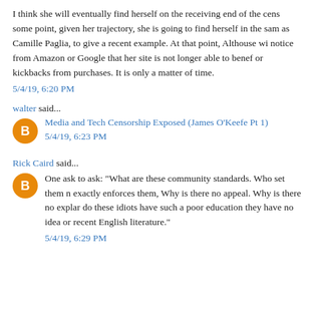I think she will eventually find herself on the receiving end of the cens some point, given her trajectory, she is going to find herself in the sam as Camille Paglia, to give a recent example. At that point, Althouse wi notice from Amazon or Google that her site is not longer able to benef or kickbacks from purchases. It is only a matter of time.
5/4/19, 6:20 PM
walter said...
Media and Tech Censorship Exposed (James O'Keefe Pt 1)
5/4/19, 6:23 PM
Rick Caird said...
One ask to ask: "What are these community standards. Who set them n exactly enforces them, Why is there no appeal. Why is there no explar do these idiots have such a poor education they have no idea or recent English literature."
5/4/19, 6:29 PM